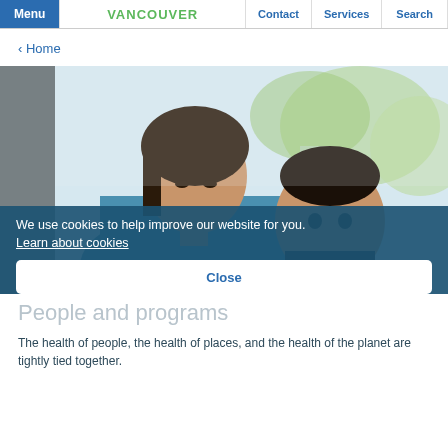Menu | VANCOUVER | Contact | Services | Search
< Home
[Figure (photo): A woman holding a young child/baby outdoors, with blurred green trees and urban background]
We use cookies to help improve our website for you.
Learn about cookies
Close
People and programs
The health of people, the health of places, and the health of the planet are tightly tied together.